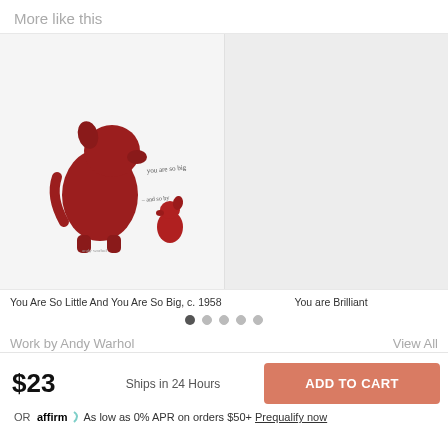More like this
[Figure (photo): E-commerce carousel showing two product images: left shows a red dog illustration artwork titled 'You Are So Little And You Are So Big, c. 1958', right panel is a light gray placeholder for 'You are Brilliant']
You Are So Little And You Are So Big, c. 1958
You are Brilliant
Work by Andy Warhol
View All
$23
Ships in 24 Hours
ADD TO CART
OR
As low as 0% APR on orders $50+ Prequalify now